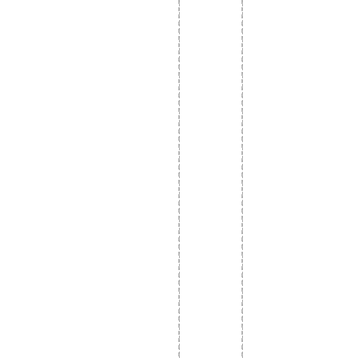d prematurely, allowing the Egypti